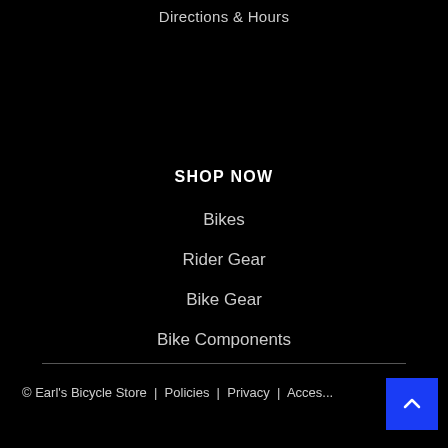Directions & Hours
SHOP NOW
Bikes
Rider Gear
Bike Gear
Bike Components
© Earl's Bicycle Store | Policies | Privacy | Acces...